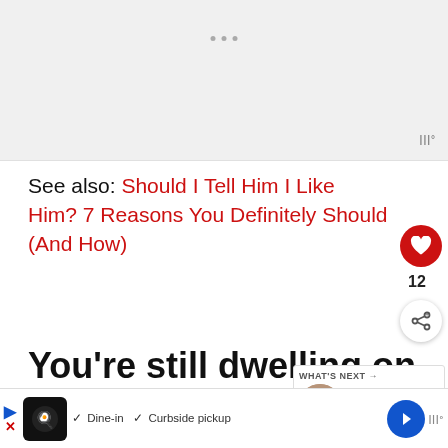[Figure (other): Advertisement placeholder area with gray background and three dots indicating ad loading]
See also: Should I Tell Him I Like Him? 7 Reasons You Definitely Should (And How)
You're still dwelling on your previous relationship
[Figure (other): What's Next panel showing thumbnail image with text 'Top 10 Signs It's Time To...']
[Figure (other): Bottom advertisement bar with restaurant icon, Dine-in and Curbside pickup options]